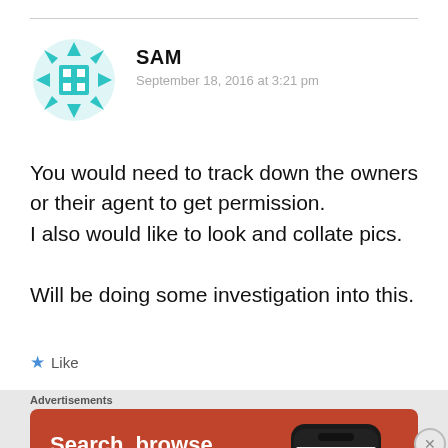[Figure (illustration): Teal/cyan geometric snowflake-style avatar icon for user SAM]
SAM
September 18, 2016 at 3:21 pm
You would need to track down the owners or their agent to get permission.
I also would like to look and collate pics.

Will be doing some investigation into this.
★ Like
Advertisements
[Figure (screenshot): DuckDuckGo advertisement banner: orange/red background with text 'Search, browse, and email with more privacy. All in One Free App' and a phone showing DuckDuckGo logo]